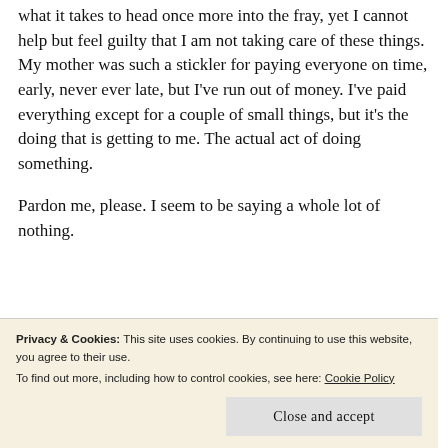what it takes to head once more into the fray, yet I cannot help but feel guilty that I am not taking care of these things. My mother was such a stickler for paying everyone on time, early, never ever late, but I've run out of money. I've paid everything except for a couple of small things, but it's the doing that is getting to me. The actual act of doing something.
Pardon me, please. I seem to be saying a whole lot of nothing.
“but I have the kind of patience
Privacy & Cookies: This site uses cookies. By continuing to use this website, you agree to their use.
To find out more, including how to control cookies, see here: Cookie Policy